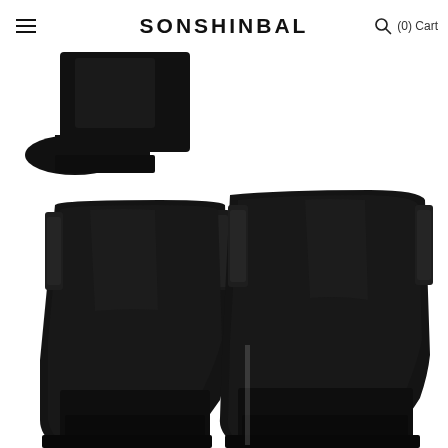SONSHINBAL (0) Cart
[Figure (photo): E-commerce website screenshot showing Sonshinbal brand page with black suede Chelsea boots. Top-left corner shows a partial view of a single black boot. Bottom portion shows a pair of black suede Chelsea boots from the back, featuring elastic side panels, displayed against a white background.]